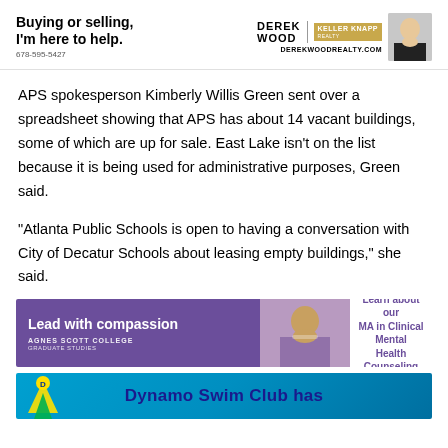[Figure (advertisement): Derek Wood Keller Knapp Realty ad with tagline 'Buying or selling, I'm here to help.' Phone: 678-595-5427. DerekWoodRealty.com. Photo of man in suit.]
APS spokesperson Kimberly Willis Green sent over a spreadsheet showing that APS has about 14 vacant buildings, some of which are up for sale. East Lake isn't on the list because it is being used for administrative purposes, Green said.
“Atlanta Public Schools is open to having a conversation with City of Decatur Schools about leasing empty buildings,” she said.
[Figure (advertisement): Agnes Scott College Graduate Studies ad. 'Lead with compassion' in purple background. Photo of woman. Right side: 'Learn about our MA in Clinical Mental Health Counseling']
[Figure (advertisement): Dynamo Swim Club has - banner ad in blue with logo]